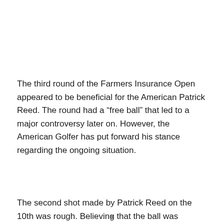The third round of the Farmers Insurance Open appeared to be beneficial for the American Patrick Reed. The round had a “free ball” that led to a major controversy later on. However, the American Golfer has put forward his stance regarding the ongoing situation.
The second shot made by Patrick Reed on the 10th was rough. Believing that the ball was plugged into the turf, he moved it himself without calling an official. Patrick claimed that the reason he moved the ball was because it was “embedded
x